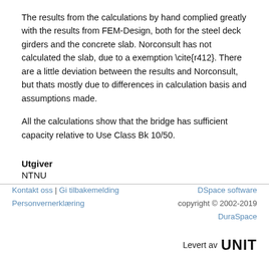The results from the calculations by hand complied greatly with the results from FEM-Design, both for the steel deck girders and the concrete slab. Norconsult has not calculated the slab, due to a exemption \cite{r412}. There are a little deviation between the results and Norconsult, but thats mostly due to differences in calculation basis and assumptions made.
All the calculations show that the bridge has sufficient capacity relative to Use Class Bk 10/50.
Utgiver
NTNU
Kontakt oss | Gi tilbakemelding | Personvernerklæring | DSpace software copyright © 2002-2019 DuraSpace | Levert av UNIT